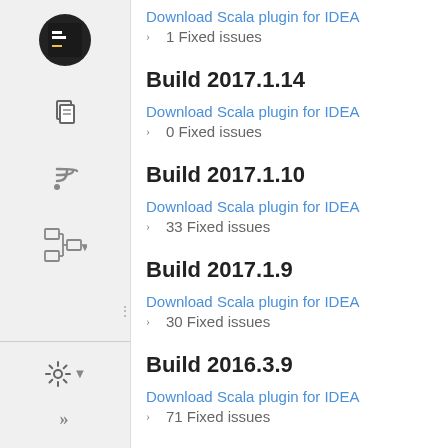Download Scala plugin for IDEA
1 Fixed issues
Build 2017.1.14
Download Scala plugin for IDEA
0 Fixed issues
Build 2017.1.10
Download Scala plugin for IDEA
33 Fixed issues
Build 2017.1.9
Download Scala plugin for IDEA
30 Fixed issues
Build 2016.3.9
Download Scala plugin for IDEA
71 Fixed issues